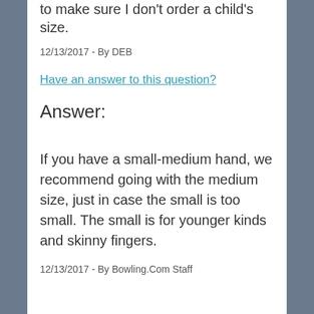to make sure I don't order a child's size.
12/13/2017 - By DEB
Have an answer to this question?
Answer:
If you have a small-medium hand, we recommend going with the medium size, just in case the small is too small. The small is for younger kinds and skinny fingers.
12/13/2017 - By Bowling.Com Staff